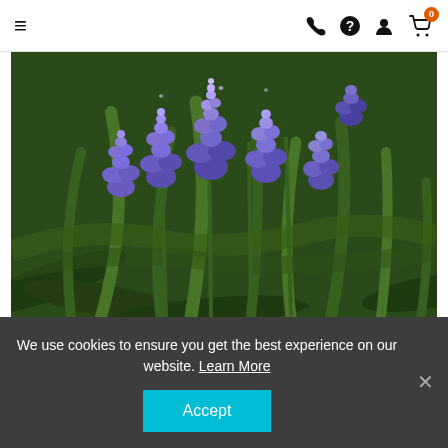Navigation bar with hamburger menu, phone, help, account, and cart (0) icons
[Figure (photo): Close-up photograph of grape hyacinth (Muscari) flowers with dense blue-purple grape-like flower clusters on green stems with long blade-like leaves in background]
Grape Hyacinth
We use cookies to ensure you get the best experience on our website. Learn More
Accept